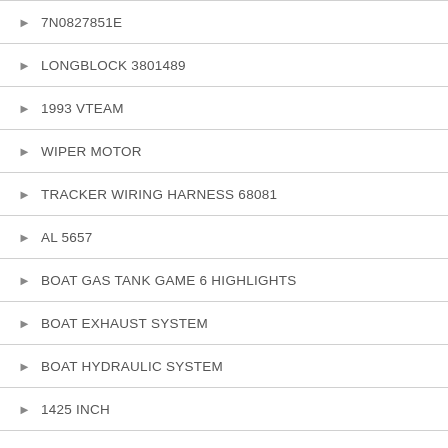7N0827851E
LONGBLOCK 3801489
1993 VTEAM
WIPER MOTOR
TRACKER WIRING HARNESS 68081
AL 5657
BOAT GAS TANK GAME 6 HIGHLIGHTS
BOAT EXHAUST SYSTEM
BOAT HYDRAULIC SYSTEM
1425 INCH